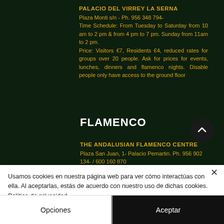PALACIO DEL VIRREY LA SERNA
Plaza Monti s/n - Ph. 956 348 794- Time Schedule: From Tuesday to Saturday from 10 am to 2 pm & from 4 pm to 7 pm. Sunday from 11am to 2 pm. Price: Visitors €7, Residents €4, reduced rates for groups over 20 people. Ask for prices for events, lunches, dinners and flamenco nights. Disable people only have access to the ground floor
FLAMENCO
THE ANDALUSIAN FLAMENCO CENTRE
Plaza San Juan, 1- Palacio Pemartin. Ph. 956 902 134- / 600 160 870
Usamos cookies en nuestra página web para ver cómo interactúas con ella. Al aceptarlas, estás de acuerdo con nuestro uso de dichas cookies. Política de privacidad